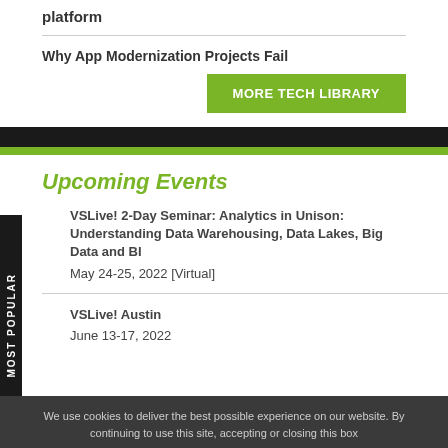platform
Why App Modernization Projects Fail
MORE TECH LIBRARY
Upcoming Events
VSLive! 2-Day Seminar: Analytics in Unison: Understanding Data Warehousing, Data Lakes, Big Data and BI
May 24-25, 2022 [Virtual]
VSLive! Austin
June 13-17, 2022
We use cookies to deliver the best possible experience on our website. By continuing to use this site, accepting or closing this box